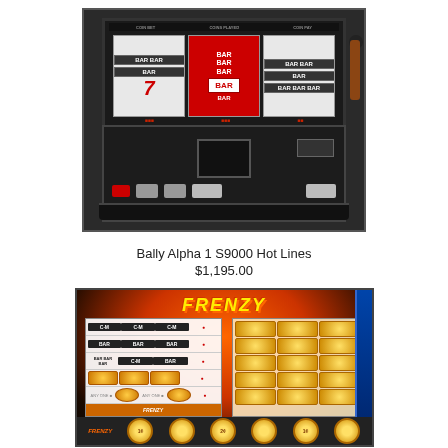[Figure (photo): Bally Alpha 1 S9000 Hot Lines slot machine, front view showing reels with 7, BAR symbols, control panel with buttons, handle on right side, dark cabinet]
Bally Alpha 1 S9000 Hot Lines
$1,195.00
[Figure (photo): Frenzy slot machine paytable screen showing FRENZY title in yellow at top, two paytable panels with BAR symbols and coin prizes, bottom strip with coin denomination buttons, blue side panel]